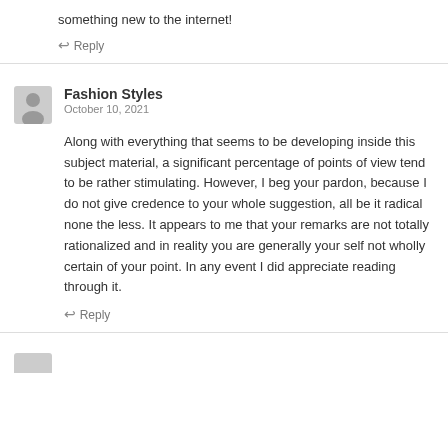something new to the internet!
↩ Reply
Fashion Styles
October 10, 2021
Along with everything that seems to be developing inside this subject material, a significant percentage of points of view tend to be rather stimulating. However, I beg your pardon, because I do not give credence to your whole suggestion, all be it radical none the less. It appears to me that your remarks are not totally rationalized and in reality you are generally your self not wholly certain of your point. In any event I did appreciate reading through it.
↩ Reply